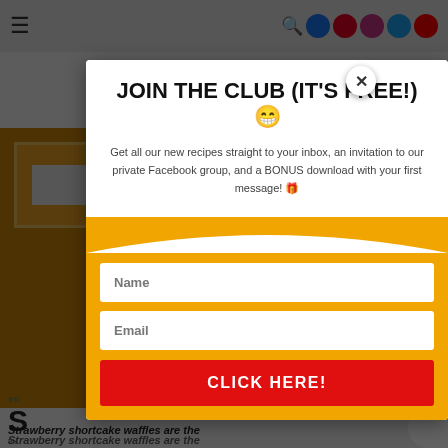[Figure (screenshot): Website background showing navigation bar with hamburger menu, social media icons (Facebook, Pinterest, Instagram, Twitter, YouTube), an orange/teal banner section, breadcrumb navigation, partial page title starting with 'S', and side action buttons with heart icon showing 1.2K count and share button.]
JOIN THE CLUB (IT'S FREE!) 😁
Get all our new recipes straight to your inbox, an invitation to our private Facebook group, and a BONUS download with your first message! 🎁
Name
Email
CLICK HERE!
Strawberry shortcake waffles are the